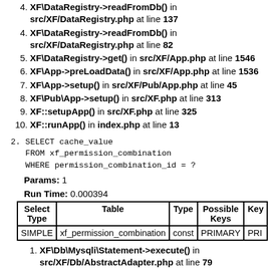XF\DataRegistry->readFromDb() in src/XF/DataRegistry.php at line 137
XF\DataRegistry->readFromDb() in src/XF/DataRegistry.php at line 82
XF\DataRegistry->get() in src/XF/App.php at line 1546
XF\App->preLoadData() in src/XF/App.php at line 1536
XF\App->setup() in src/XF/Pub/App.php at line 45
XF\Pub\App->setup() in src/XF.php at line 313
XF::setupApp() in src/XF.php at line 325
XF::runApp() in index.php at line 13
SELECT cache_value
   FROM xf_permission_combination
   WHERE permission_combination_id = ?
Params: 1
Run Time: 0.000394
| Select Type | Table | Type | Possible Keys | Key |
| --- | --- | --- | --- | --- |
| SIMPLE | xf_permission_combination | const | PRIMARY | PRI |
XF\Db\Mysqli\Statement->execute() in src/XF/Db/AbstractAdapter.php at line 79
XF\Db\AbstractAdapter->query() in